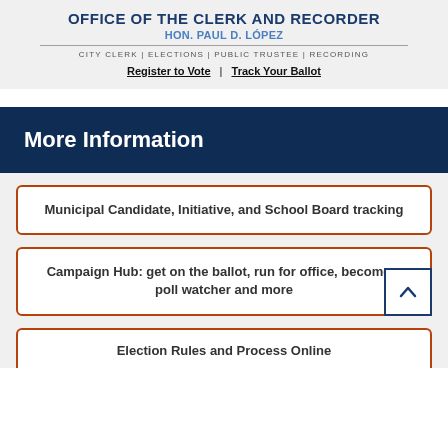OFFICE OF THE CLERK AND RECORDER
HON. PAUL D. LÓPEZ
CITY CLERK | ELECTIONS | PUBLIC TRUSTEE | RECORDING
Register to Vote | Track Your Ballot
More Information
Municipal Candidate, Initiative, and School Board tracking
Campaign Hub: get on the ballot, run for office, become a poll watcher and more
Election Rules and Process Online...